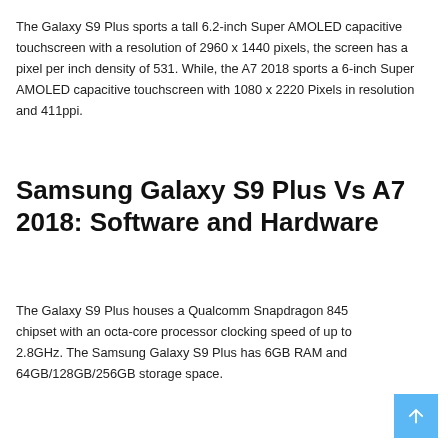The Galaxy S9 Plus sports a tall 6.2-inch Super AMOLED capacitive touchscreen with a resolution of 2960 x 1440 pixels, the screen has a pixel per inch density of 531. While, the A7 2018 sports a 6-inch Super AMOLED capacitive touchscreen with 1080 x 2220 Pixels in resolution and 411ppi.
Samsung Galaxy S9 Plus Vs A7 2018: Software and Hardware
The Galaxy S9 Plus houses a Qualcomm Snapdragon 845 chipset with an octa-core processor clocking speed of up to 2.8GHz. The Samsung Galaxy S9 Plus has 6GB RAM and 64GB/128GB/256GB storage space.